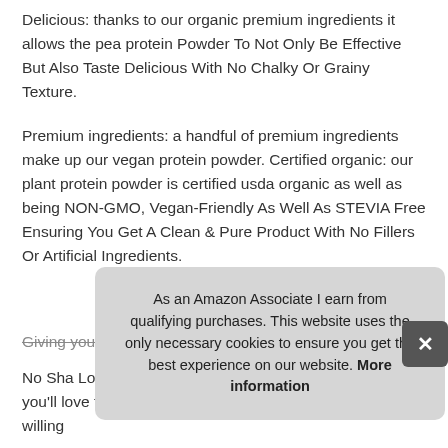Delicious: thanks to our organic premium ingredients it allows the pea protein Powder To Not Only Be Effective But Also Taste Delicious With No Chalky Or Grainy Texture.
Premium ingredients: a handful of premium ingredients make up our vegan protein powder. Certified organic: our plant protein powder is certified usda organic as well as being NON-GMO, Vegan-Friendly As Well As STEVIA Free Ensuring You Get A Clean & Pure Product With No Fillers Or Artificial Ingredients.
More information #ad
Giving you a Clean Healthy Protein Supplement
No ... Sha... Lov... you'll love the way our protein powder tastes, & we are willing
As an Amazon Associate I earn from qualifying purchases. This website uses the only necessary cookies to ensure you get the best experience on our website. More information